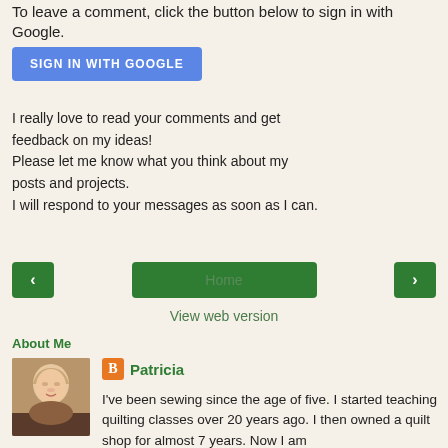To leave a comment, click the button below to sign in with Google.
[Figure (other): Blue 'SIGN IN WITH GOOGLE' button]
I really love to read your comments and get feedback on my ideas!
Please let me know what you think about my posts and projects.
I will respond to your messages as soon as I can.
[Figure (other): Navigation row with left arrow button, Home button, and right arrow button]
View web version
About Me
[Figure (photo): Profile photo of Patricia, a woman with short blonde hair smiling]
Patricia
I've been sewing since the age of five. I started teaching quilting classes over 20 years ago. I then owned a quilt shop for almost 7 years. Now I am